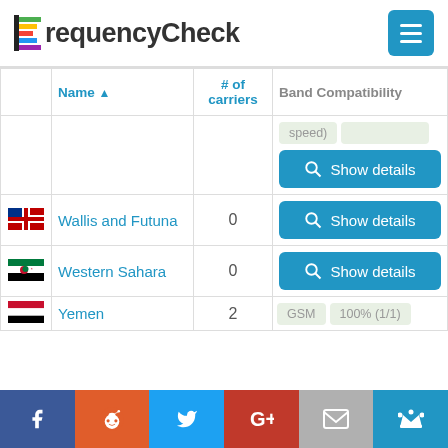FrequencyCheck
|  | Name ▲ | # of carriers | Band Compatibility |
| --- | --- | --- | --- |
|  |  |  | speed) [Show details] |
| [WF flag] | Wallis and Futuna | 0 | [Show details] |
| [WS flag] | Western Sahara | 0 | [Show details] |
| [YE flag] | Yemen | 2 | GSM 100% (1/1) |